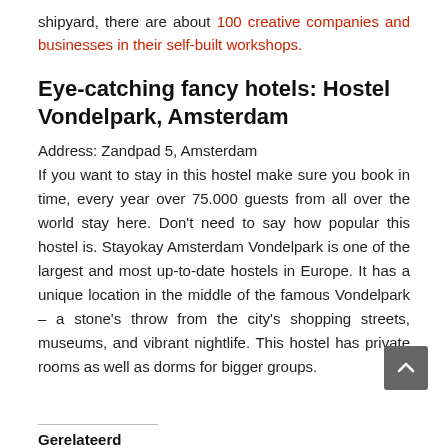shipyard, there are about 100 creative companies and businesses in their self-built workshops.
Eye-catching fancy hotels: Hostel Vondelpark, Amsterdam
Address: Zandpad 5, Amsterdam
If you want to stay in this hostel make sure you book in time, every year over 75.000 guests from all over the world stay here. Don't need to say how popular this hostel is. Stayokay Amsterdam Vondelpark is one of the largest and most up-to-date hostels in Europe. It has a unique location in the middle of the famous Vondelpark – a stone's throw from the city's shopping streets, museums, and vibrant nightlife. This hostel has private rooms as well as dorms for bigger groups.
Gerelateerd